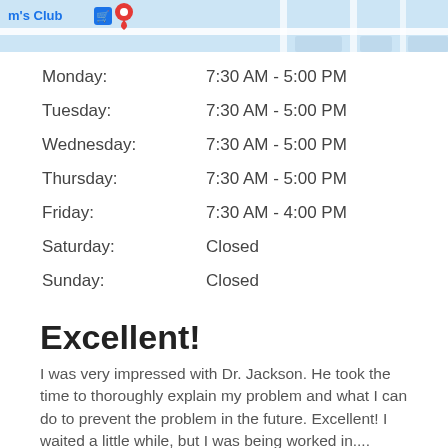[Figure (map): Partial map view showing 'm's Club' label with a map pin icon and street outlines on a light blue background]
| Monday: | 7:30 AM - 5:00 PM |
| Tuesday: | 7:30 AM - 5:00 PM |
| Wednesday: | 7:30 AM - 5:00 PM |
| Thursday: | 7:30 AM - 5:00 PM |
| Friday: | 7:30 AM - 4:00 PM |
| Saturday: | Closed |
| Sunday: | Closed |
Excellent!
I was very impressed with Dr. Jackson. He took the time to thoroughly explain my problem and what I can do to prevent the problem in the future. Excellent! I waited a little while, but I was being worked in....
[Figure (other): Five gold/yellow star rating icons]
- Jane A. Mobile AL